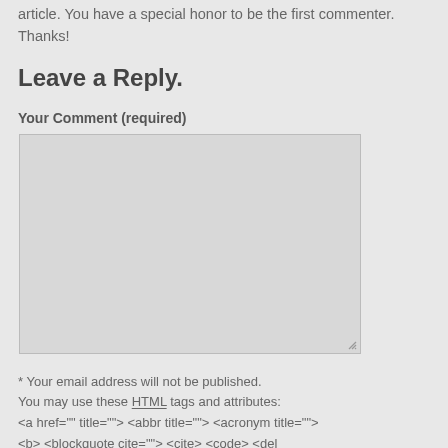article. You have a special honor to be the first commenter. Thanks!
Leave a Reply.
Your Comment (required)
[Figure (other): Empty textarea input box for comment submission]
* Your email address will not be published. You may use these HTML tags and attributes: <a href="" title=""> <abbr title=""> <acronym title=""> <b> <blockquote cite=""> <cite> <code> <del datetime=""> <em> <i> <q cite=""> <s> <strike>